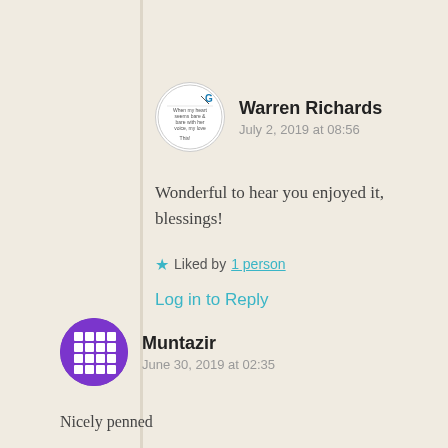Warren Richards
July 2, 2019 at 08:56
Wonderful to hear you enjoyed it, blessings!
Liked by 1 person
Log in to Reply
Muntazir
June 30, 2019 at 02:35
Nicely penned